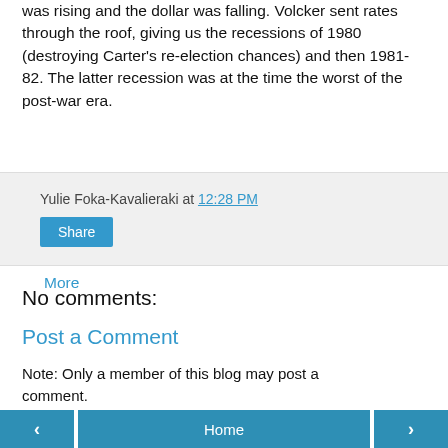was rising and the dollar was falling. Volcker sent rates through the roof, giving us the recessions of 1980 (destroying Carter's re-election chances) and then 1981-82. The latter recession was at the time the worst of the post-war era.
More
Yulie Foka-Kavalieraki at 12:28 PM
Share
No comments:
Post a Comment
Note: Only a member of this blog may post a comment.
‹  Home  ›